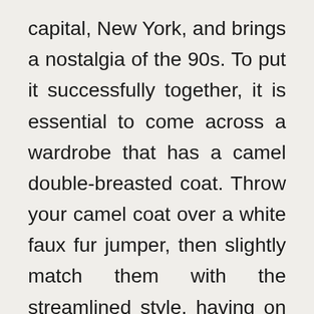capital, New York, and brings a nostalgia of the 90s. To put it successfully together, it is essential to come across a wardrobe that has a camel double-breasted coat. Throw your camel coat over a white faux fur jumper, then slightly match them with the streamlined style, having on pinstripe pants. You can showcase an official retro vibe for your head through a Baker Boy hat. For your feet, scop sweet relish of vanilla kicks on them.